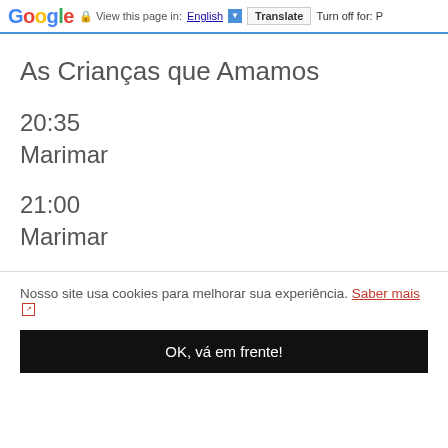Google  View this page in: English [▼]  Translate  Turn off for: P
As Crianças que Amamos
20:35
Marimar
21:00
Marimar
Nosso site usa cookies para melhorar sua experiência. Saber mais ↗
OK, vá em frente!